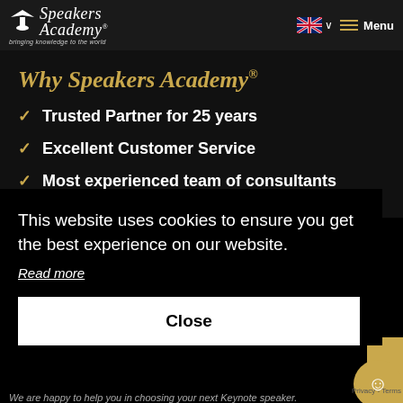Speakers Academy® — bringing knowledge to the world
Why Speakers Academy®
Trusted Partner for 25 years
Excellent Customer Service
Most experienced team of consultants
This website uses cookies to ensure you get the best experience on our website.
Read more
Close
We are happy to help you in choosing your next Keynote speaker.